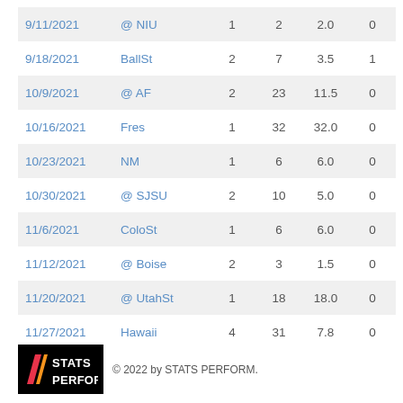| 9/11/2021 | @ NIU | 1 | 2 | 2.0 | 0 |
| 9/18/2021 | BallSt | 2 | 7 | 3.5 | 1 |
| 10/9/2021 | @ AF | 2 | 23 | 11.5 | 0 |
| 10/16/2021 | Fres | 1 | 32 | 32.0 | 0 |
| 10/23/2021 | NM | 1 | 6 | 6.0 | 0 |
| 10/30/2021 | @ SJSU | 2 | 10 | 5.0 | 0 |
| 11/6/2021 | ColoSt | 1 | 6 | 6.0 | 0 |
| 11/12/2021 | @ Boise | 2 | 3 | 1.5 | 0 |
| 11/20/2021 | @ UtahSt | 1 | 18 | 18.0 | 0 |
| 11/27/2021 | Hawaii | 4 | 31 | 7.8 | 0 |
[Figure (logo): STATS PERFORM logo on black background with colored slash marks]
© 2022 by STATS PERFORM.